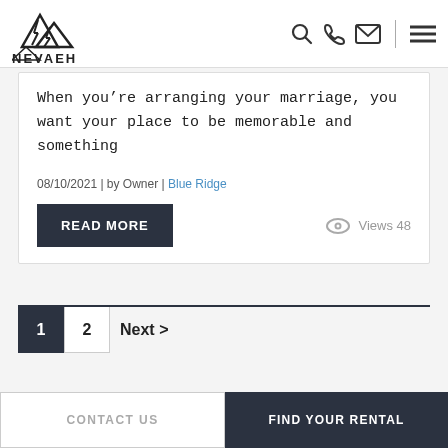NEVAEH CABIN RENTALS
When you’re arranging your marriage, you want your place to be memorable and something
08/10/2021 | by Owner | Blue Ridge
READ MORE
Views 48
1  2  Next >
CONTACT US  |  FIND YOUR RENTAL